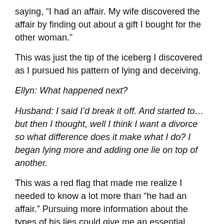saying, “I had an affair. My wife discovered the affair by finding out about a gift I bought for the other woman.”
This was just the tip of the iceberg I discovered as I pursued his pattern of lying and deceiving.
Ellyn: What happened next?
Husband: I said I’d break it off. And started to…but then I thought, well I think I want a divorce so what difference does it make what I do? I began lying more and adding one lie on top of another.
This was a red flag that made me realize I needed to know a lot more than “he had an affair.” Pursuing more information about the types of his lies could give me an essential window into what was wrong, what went wrong and how to structure the early phase of therapy.